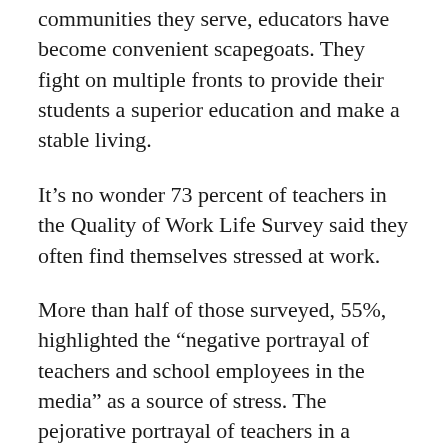communities they serve, educators have become convenient scapegoats. They fight on multiple fronts to provide their students a superior education and make a stable living.
It's no wonder 73 percent of teachers in the Quality of Work Life Survey said they often find themselves stressed at work.
More than half of those surveyed, 55%, highlighted the “negative portrayal of teachers and school employees in the media” as a source of stress. The pejorative portrayal of teachers in a publication like The Atlantic is especially problematic. That a national periodical elected to do a piece on the survey but limit its scope to toilet restrictions trivializes other results. It’s